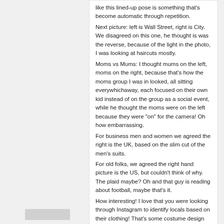like this lined-up pose is something that's become automatic through repetition.
Next picture: left is Wall Street, right is City. We disagreed on this one, he thought is was the reverse, because of the light in the photo, I was looking at haircuts mostly.
Moms vs Mums: I thought mums on the left, moms on the right, because that's how the moms group I was in looked, all sitting everywhichaway, each focused on their own kid instead of on the group as a social event, while he thought the moms were on the left because they were "on" for the camera! Oh how embarrassing.
For business men and women we agreed the right is the UK, based on the slim cut of the men's suits.
For old folks, we agreed the right hand picture is the US, but couldn't think of why. The plaid maybe? Oh and that guy is reading about football, maybe that's it.
How interesting! I love that you were looking through Instagram to identify locals based on their clothing! That's some costume design level stuff right there.